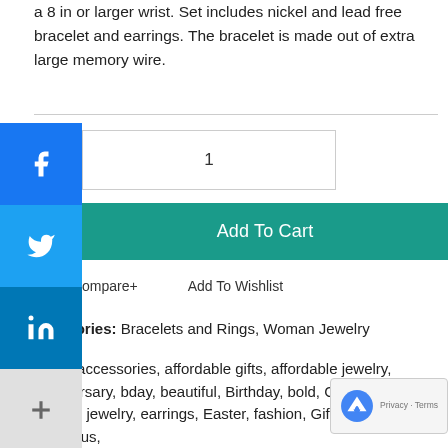a 8 in or larger wrist. Set includes nickel and lead free bracelet and earrings. The bracelet is made out of extra large memory wire.
[Figure (infographic): Social media sharing buttons: Facebook, Twitter, LinkedIn, and a More (+) button arranged vertically on the left side]
1
Add To Cart
Compare+    Add To Wishlist
Categories: Bracelets and Rings, Woman Jewelry
Tags: accessories, affordable gifts, affordable jewelry, Anniversary, bday, beautiful, Birthday, bold, Christmas, custom jewelry, earrings, Easter, fashion, Gift, glamour, gorgeous, handmade jewelry, pretty, royal blue, royal blue bracelet, blue jewelry, unique pieces, Valentines gifts, women jewelry